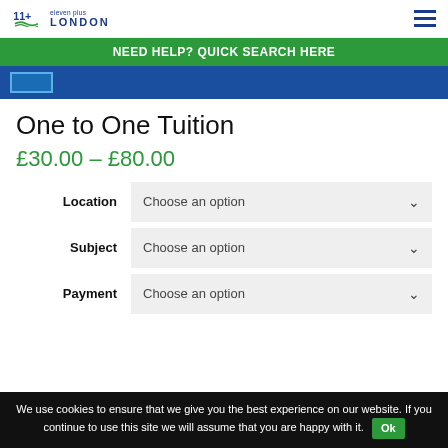11+ eleven plus LONDON
NEED HELP? QUICK SEARCH HERE
[Figure (screenshot): Blue banner section with a button]
One to One Tuition
£30.00 – £80.00
Location – Choose an option
Subject – Choose an option
Payment – Choose an option
We use cookies to ensure that we give you the best experience on our website. If you continue to use this site we will assume that you are happy with it.  Ok